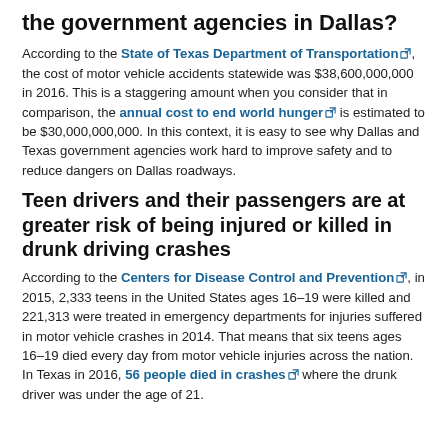the government agencies in Dallas?
According to the State of Texas Department of Transportation, the cost of motor vehicle accidents statewide was $38,600,000,000 in 2016. This is a staggering amount when you consider that in comparison, the annual cost to end world hunger is estimated to be $30,000,000,000. In this context, it is easy to see why Dallas and Texas government agencies work hard to improve safety and to reduce dangers on Dallas roadways.
Teen drivers and their passengers are at greater risk of being injured or killed in drunk driving crashes
According to the Centers for Disease Control and Prevention, in 2015, 2,333 teens in the United States ages 16–19 were killed and 221,313 were treated in emergency departments for injuries suffered in motor vehicle crashes in 2014. That means that six teens ages 16–19 died every day from motor vehicle injuries across the nation. In Texas in 2016, 56 people died in crashes where the drunk driver was under the age of 21.